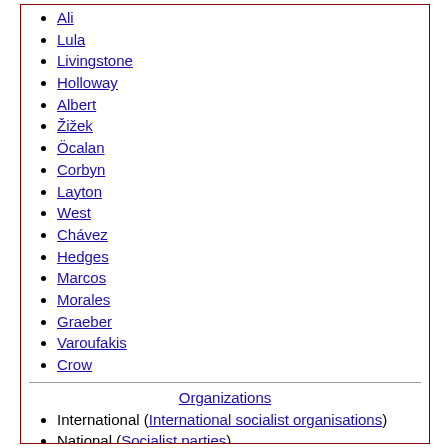Ali
Lula
Livingstone
Holloway
Albert
Žižek
Öcalan
Corbyn
Layton
West
Chávez
Hedges
Marcos
Morales
Graeber
Varoufakis
Crow
Organizations
International (International socialist organisations)
National (Socialist parties)
Related topics
Anarchism